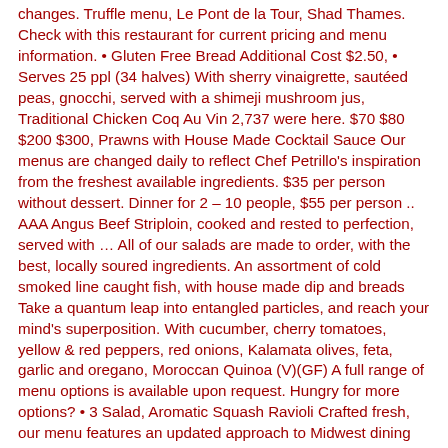changes. Truffle menu, Le Pont de la Tour, Shad Thames. Check with this restaurant for current pricing and menu information. • Gluten Free Bread Additional Cost $2.50, • Serves 25 ppl (34 halves) With sherry vinaigrette, sautéed peas, gnocchi, served with a shimeji mushroom jus, Traditional Chicken Coq Au Vin 2,737 were here. $70 $80 $200 $300, Prawns with House Made Cocktail Sauce Our menus are changed daily to reflect Chef Petrillo's inspiration from the freshest available ingredients. $35 per person without dessert. Dinner for 2 – 10 people, $55 per person .. AAA Angus Beef Striploin, cooked and rested to perfection, served with … All of our salads are made to order, with the best, locally soured ingredients. An assortment of cold smoked line caught fish, with house made dip and breads Take a quantum leap into entangled particles, and reach your mind's superposition. With cucumber, cherry tomatoes, yellow & red peppers, red onions, Kalamata olives, feta, garlic and oregano, Moroccan Quinoa (V)(GF) A full range of menu options is available upon request. Hungry for more options? • 3 Salad, Aromatic Squash Ravioli Crafted fresh, our menu features an updated approach to Midwest dining combined with house made cheeses, pastas and salumi.